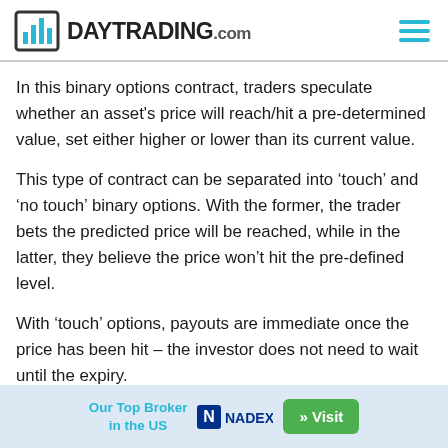DAYTRADING.com
In this binary options contract, traders speculate whether an asset's price will reach/hit a pre-determined value, set either higher or lower than its current value.
This type of contract can be separated into 'touch' and 'no touch' binary options. With the former, the trader bets the predicted price will be reached, while in the latter, they believe the price won't hit the pre-defined level.
With 'touch' options, payouts are immediate once the price has been hit – the investor does not need to wait until the expiry.
Our Top Broker in the US  NADEX  » Visit